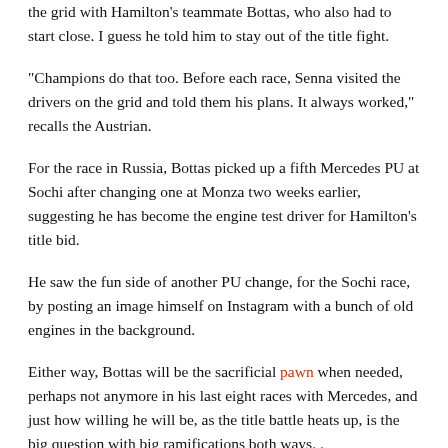the grid with Hamilton's teammate Bottas, who also had to start close. I guess he told him to stay out of the title fight.
“Champions do that too. Before each race, Senna visited the drivers on the grid and told them his plans. It always worked,” recalls the Austrian.
For the race in Russia, Bottas picked up a fifth Mercedes PU at Sochi after changing one at Monza two weeks earlier, suggesting he has become the engine test driver for Hamilton’s title bid.
He saw the fun side of another PU change, for the Sochi race, by posting an image himself on Instagram with a bunch of old engines in the background.
Either way, Bottas will be the sacrificial pawn when needed, perhaps not anymore in his last eight races with Mercedes, and just how willing he will be, as the title battle heats up, is the big question with big ramifications both ways. .